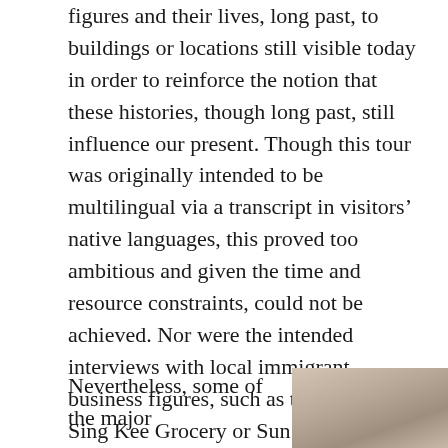figures and their lives, long past, to buildings or locations still visible today in order to reinforce the notion that these histories, though long past, still influence our present. Though this tour was originally intended to be multilingual via a transcript in visitors' native languages, this proved too ambitious and given the time and resource constraints, could not be achieved. Nor were the intended interviews with local immigrant business figures, such as the owners of Sing Kee Grocery or Sun Ming Restaurant, able to be achieved despite their lives and stories being highly valuable to the biographic nature of this project.
Nevertheless, some of the major
[Figure (photo): Partial photograph showing a blurred or close-up image, appearing to be a reddish-brown or tan surface, possibly a wall or tabletop.]